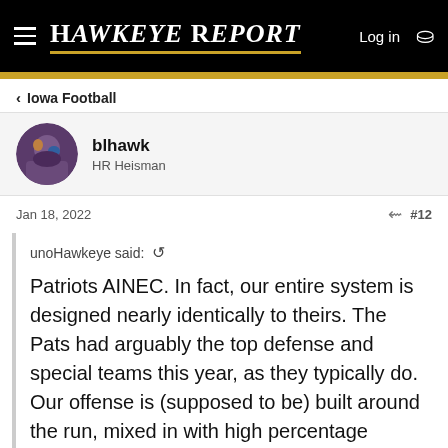HAWKEYE REPORT
Iowa Football
blhawk
HR Heisman
Jan 18, 2022  #12
unoHawkeye said:  ↺

Patriots AINEC. In fact, our entire system is designed nearly identically to theirs. The Pats had arguably the top defense and special teams this year, as they typically do. Our offense is (supposed to be) built around the run, mixed in with high percentage passes that any smart QB with a good arm can make based off
Click to expand...